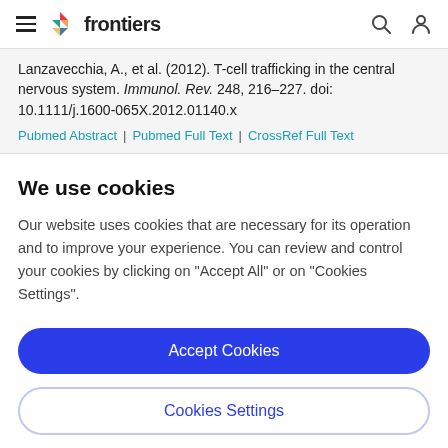frontiers (navigation bar with hamburger menu, logo, search, and user icons)
Lanzavecchia, A., et al. (2012). T-cell trafficking in the central nervous system. Immunol. Rev. 248, 216–227. doi: 10.1111/j.1600-065X.2012.01140.x
Pubmed Abstract | Pubmed Full Text | CrossRef Full Text
We use cookies
Our website uses cookies that are necessary for its operation and to improve your experience. You can review and control your cookies by clicking on "Accept All" or on "Cookies Settings".
Accept Cookies
Cookies Settings